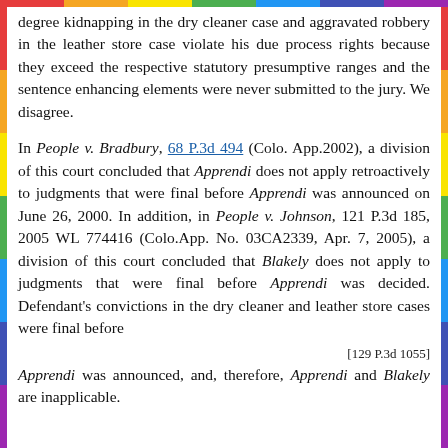degree kidnapping in the dry cleaner case and aggravated robbery in the leather store case violate his due process rights because they exceed the respective statutory presumptive ranges and the sentence enhancing elements were never submitted to the jury. We disagree.
In People v. Bradbury, 68 P.3d 494 (Colo. App.2002), a division of this court concluded that Apprendi does not apply retroactively to judgments that were final before Apprendi was announced on June 26, 2000. In addition, in People v. Johnson, 121 P.3d 185, 2005 WL 774416 (Colo.App. No. 03CA2339, Apr. 7, 2005), a division of this court concluded that Blakely does not apply to judgments that were final before Apprendi was decided. Defendant's convictions in the dry cleaner and leather store cases were final before
[129 P.3d 1055]
Apprendi was announced, and, therefore, Apprendi and Blakely are inapplicable.